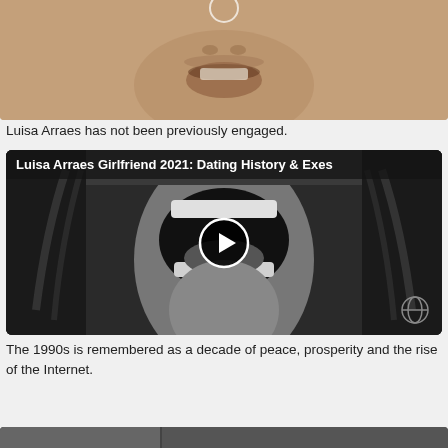[Figure (photo): Close-up photo of a person's lower face showing mouth and chin, warm skin tones, partially cropped]
Luisa Arraes has not been previously engaged.
[Figure (screenshot): Video thumbnail showing black and white image of a person screaming with mouth wide open. Title overlay: 'Luisa Arraes Girlfriend 2021: Dating History & Exes'. Play button overlay in center. Globo TV watermark bottom right.]
The 1990s is remembered as a decade of peace, prosperity and the rise of the Internet.
[Figure (photo): Partially visible image at bottom edge of page]